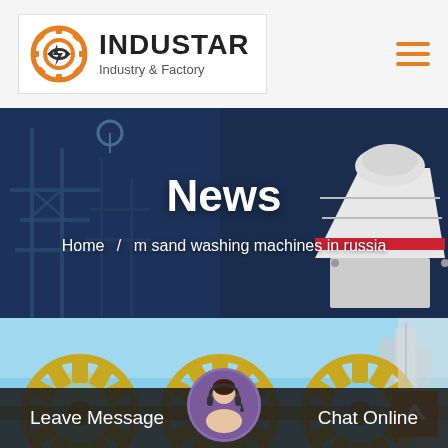INDUSTAR Industry & Factory
News
Home / m sand washing machines in russia
[Figure (photo): Industrial machinery / sand washing machines with yellow components against a blue sky background]
Leave Message
Chat Online